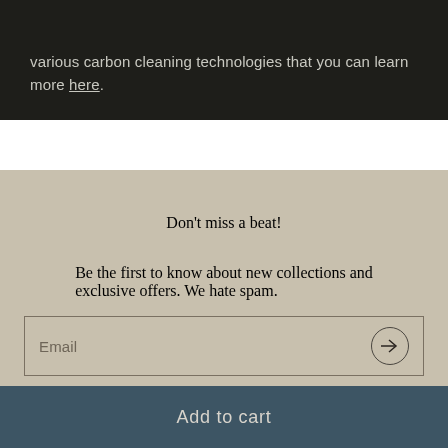various carbon cleaning technologies that you can learn more here.
Don't miss a beat!
Be the first to know about new collections and exclusive offers. We hate spam.
Email
Add to cart